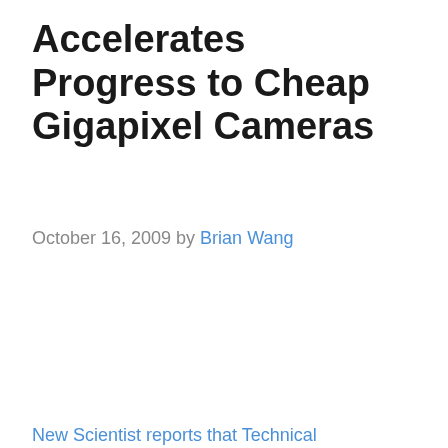Accelerates Progress to Cheap Gigapixel Cameras
October 16, 2009 by Brian Wang
New Scientist reports that Technical